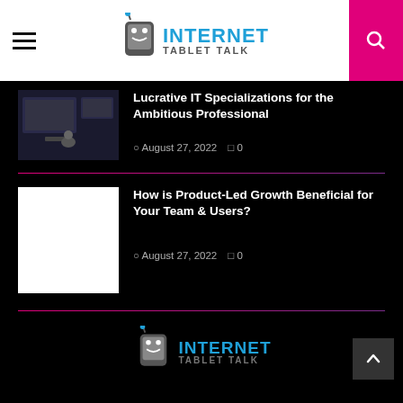Internet Tablet Talk
[Figure (screenshot): Thumbnail of person working at a computer with multiple screens]
Lucrative IT Specializations for the Ambitious Professional
August 27, 2022  0
[Figure (photo): Blank white thumbnail placeholder]
How is Product-Led Growth Beneficial for Your Team & Users?
August 27, 2022  0
[Figure (logo): Internet Tablet Talk footer logo with mascot]